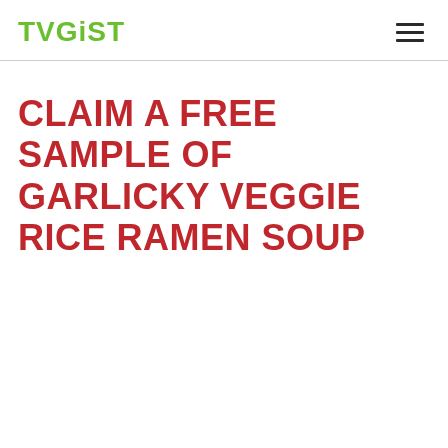TVGiST
CLAIM A FREE SAMPLE OF GARLICKY VEGGIE RICE RAMEN SOUP